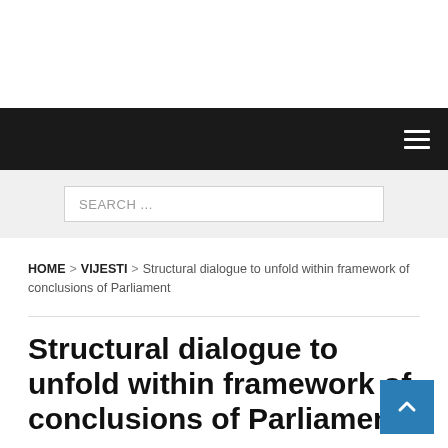Navigation bar with hamburger menu
SEARCH ...
HOME > VIJESTI > Structural dialogue to unfold within framework of conclusions of Parliament
Structural dialogue to unfold within framework of conclusions of Parliament
2014.03.27   Editor